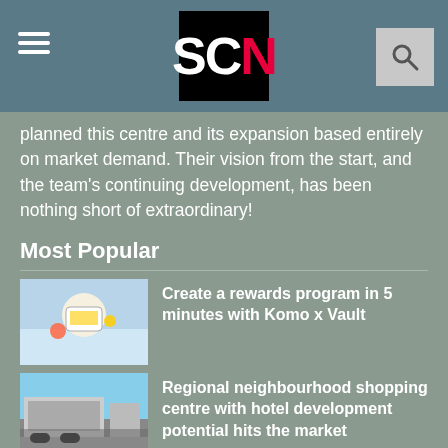SCN
planned this centre and its expansion based entirely on market demand. Their vision from the start, and the team's continuing development, has been nothing short of extraordinary!
Most Popular
Create a rewards program in 5 minutes with Komo x Vault
Regional neighbourhood shopping centre with hotel development potential hits the market
Landmark Developers announce first commercial project in Melbourne's west
Valet up this Christmas